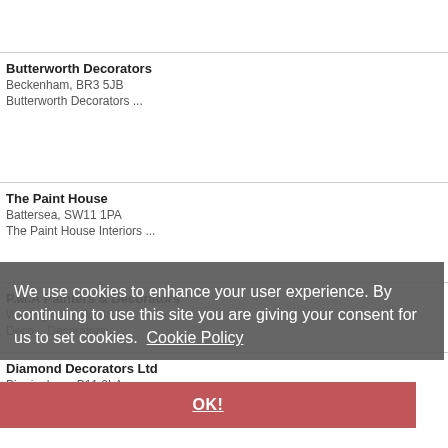Butterworth Decorators
Beckenham, BR3 5JB
Butterworth Decorators ...
The Paint House
Battersea, SW11 1PA
The Paint House Interiors ...
P.M.A Painters & Decorators
Warrington, WA3 3SB
Decorators ... Decorators ...
Diamond Decorators Ltd
Birmingham, B11 2LA
...
We use cookies to enhance your user experience. By continuing to use this site you are giving your consent for us to set cookies. Cookie Policy
OK!